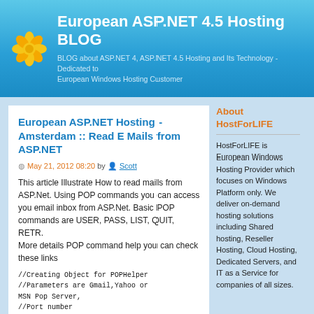European ASP.NET 4.5 Hosting BLOG — BLOG about ASP.NET 4, ASP.NET 4.5 Hosting and Its Technology - Dedicated to European Windows Hosting Customer
European ASP.NET Hosting - Amsterdam :: Read E Mails from ASP.NET
May 21, 2012 08:20 by Scott
This article Illustrate How to read mails from ASP.Net. Using POP commands you can access you email inbox from ASP.Net. Basic POP commands are USER, PASS, LIST, QUIT, RETR.
More details POP command help you can check these links
//Creating Object for POPHelper
//Parameters are Gmail,Yahoo or MSN Pop Server,
//Port number
//bool isSSL
POPHelper objPopHelper = new POPHelper("pop.gmail.com", 995, true);
objPopHelper.UserName = "Your Gmail Username
About HostForLIFE
HostForLIFE is European Windows Hosting Provider which focuses on Windows Platform only. We deliver on-demand hosting solutions including Shared hosting, Reseller Hosting, Cloud Hosting, Dedicated Servers, and IT as a Service for companies of all sizes.